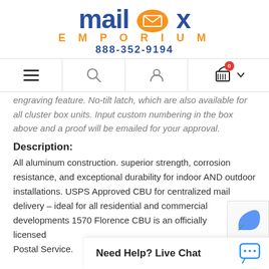[Figure (logo): Mailbox Emporium logo with orange oval containing envelope icon, blue text 'mailbox', orange text 'EMPORIUM', blue phone number 888-352-9194]
Navigation bar with hamburger menu, search icon, account icon, cart icon (0 items)
engraving feature. No-tilt latch, which are also available for all cluster box units. Input custom numbering in the box above and a proof will be emailed for your approval.
Description:
All aluminum construction. superior strength, corrosion resistance, and exceptional durability for indoor AND outdoor installations. USPS Approved CBU for centralized mail delivery – ideal for all residential and commercial developments 1570 Florence CBU is an officially licensed ... Postal Service.
Need Help? Live Chat